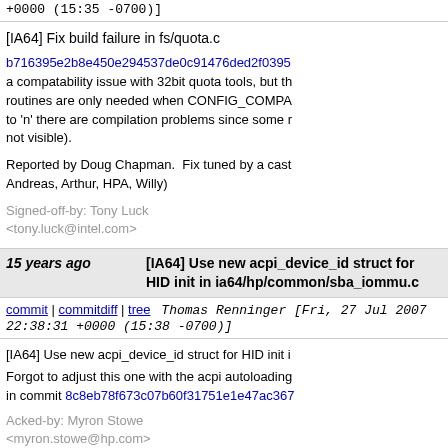+0000 (15:35 -0700)]
[IA64] Fix build failure in fs/quota.c
b716395e2b8e450e294537de0c91476ded2f0395 a compatability issue with 32bit quota tools, but th routines are only needed when CONFIG_COMPA to 'n' there are compilation problems since some r not visible).
Reported by Doug Chapman.  Fix tuned by a cast Andreas, Arthur, HPA, Willy)
Signed-off-by: Tony Luck <tony.luck@intel.com>
15 years ago  [IA64] Use new acpi_device_id struct for HID init in ia64/hp/common/sba_iommu.c
commit | commitdiff | tree  Thomas Renninger [Fri, 27 Jul 2007 22:38:31 +0000 (15:38 -0700)]
[IA64] Use new acpi_device_id struct for HID init i
Forgot to adjust this one with the acpi autoloading in commit 8c8eb78f673c07b60f31751e1e47ac367
Acked-by: Myron Stowe <myron.stowe@hp.com>
Acked-by: Len Brown <len.brown@intel.com>
Signed-off-by: Thomas Renninger